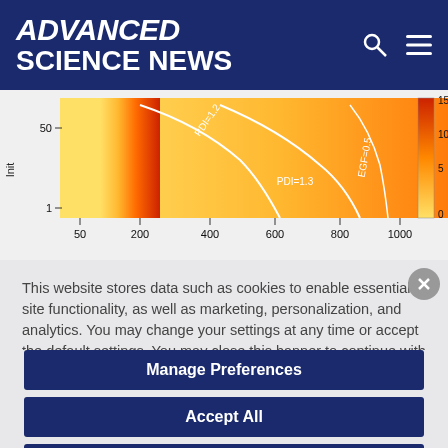ADVANCED SCIENCE NEWS
[Figure (continuous-plot): Scientific contour plot showing PDI and EGF isolines on a gradient background from yellow to red/orange. X-axis labels: 50, 200, 400, 600, 800, 1000. Y-axis labels: 1, 50. Contour lines labeled PDI=1.2, PDI=1.3, EGF=0.5. Color bar on right shows scale 0, 5, 10, 15.]
This website stores data such as cookies to enable essential site functionality, as well as marketing, personalization, and analytics. You may change your settings at any time or accept the default settings. You may close this banner to continue with only essential cookies. Privacy Policy
Manage Preferences
Accept All
Reject All